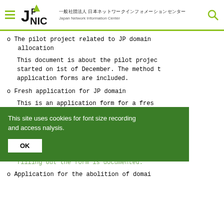JPNIC — 一般社団法人 日本ネットワークインフォメーションセンター Japan Network Information Center
o The pilot project related to JP domain allocation
This document is about the pilot project started on 1st of December. The method the application forms are included.
o Fresh application for JP domain
This is an application form for a fresh related to a fresh application and the documented.
o Application related to JP domain name n
This is an application form for JP domain matters related to an application for filling out the form is documented.
o Application for the abolition of domain